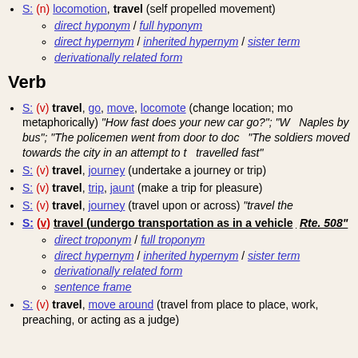S: (n) locomotion, travel (self propelled movement)
direct hyponym / full hyponym
direct hypernym / inherited hypernym / sister term
derivationally related form
Verb
S: (v) travel, go, move, locomote (change location; move, travel, or proceed, also metaphorically) "How fast does your new car go?"; "We travelled from Rome to Naples by bus"; "The policemen went from door to door"; "The soldiers moved towards the city in an attempt to take it before night fell"; "news travelled fast"
S: (v) travel, journey (undertake a journey or trip)
S: (v) travel, trip, jaunt (make a trip for pleasure)
S: (v) travel, journey (travel upon or across) "travel the oceans"
S: (v) travel (undergo transportation as in a vehicle) "We travelled Rte. 508"
direct troponym / full troponym
direct hypernym / inherited hypernym / sister term
derivationally related form
sentence frame
S: (v) travel, move around (travel from place to place, as for the purpose of finding work, preaching, or acting as a judge)